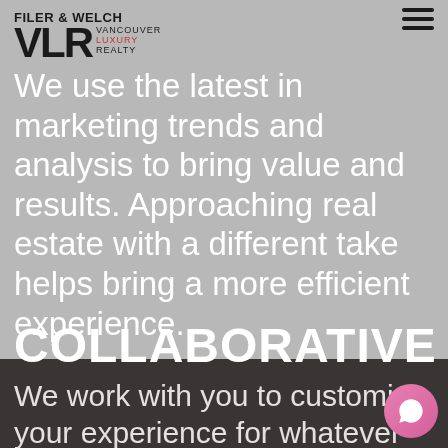FILER & WELCH — Vancouver Luxury Realty
We use the latest in marketing trends and analysis to bring value and results. Approaching real estate with a different take helps bring a more efficient experience.
COLLABORATIVE
We work with you to customize your experience for whatever you are looking to do, whether thats